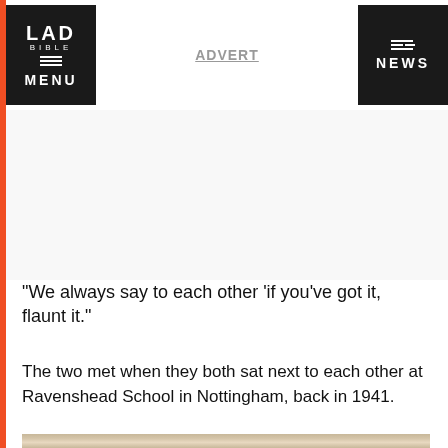LAD BIBLE MENU | ADVERT | NEWS
[Figure (other): White advertisement space area]
"We always say to each other 'if you've got it, flaunt it."
The two met when they both sat next to each other at Ravenshead School in Nottingham, back in 1941.
[Figure (photo): Partial photo of two elderly people]